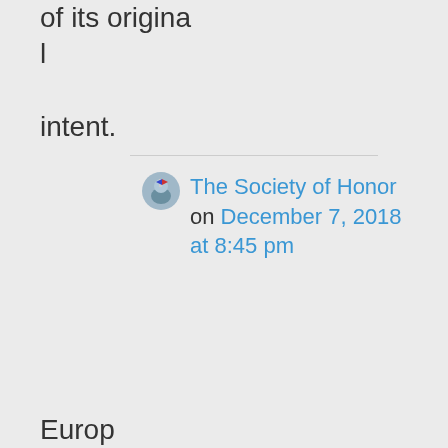of its original intent.
[Figure (photo): Small circular avatar showing a person or scene with flag, used as commenter profile image]
The Society of Honor on December 7, 2018 at 8:45 pm
Europ...